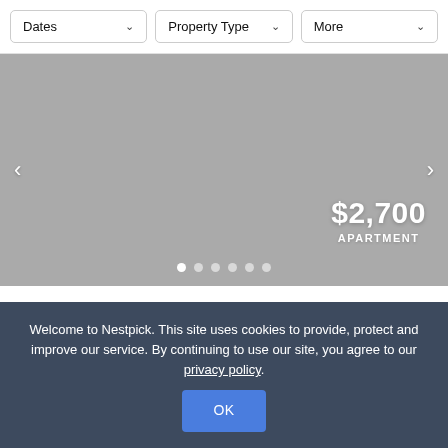Dates | Property Type | More
[Figure (photo): Gray placeholder image for apartment listing carousel showing $2,700 price and APARTMENT label, with left/right navigation arrows and 6 dot indicators at bottom]
Apartment 1 bedrooms in Berkeley
Welcome to Nestpick. This site uses cookies to provide, protect and improve our service. By continuing to use our site, you agree to our privacy policy. OK